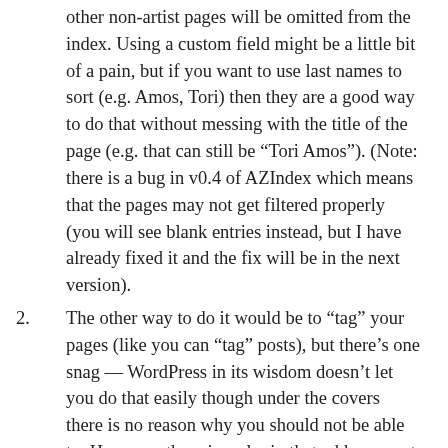other non-artist pages will be omitted from the index. Using a custom field might be a little bit of a pain, but if you want to use last names to sort (e.g. Amos, Tori) then they are a good way to do that without messing with the title of the page (e.g. that can still be “Tori Amos”). (Note: there is a bug in v0.4 of AZIndex which means that the pages may not get filtered properly (you will see blank entries instead, but I have already fixed it and the fix will be in the next version).
The other way to do it would be to “tag” your pages (like you can “tag” posts), but there’s one snag — WordPress in its wisdom doesn’t let you do that easily though under the covers there is no reason why you should not be able to. However, there is a plugin that adds support for adding tags to pages: tags4page. I just tried it quickly, and it seems to work great with AZIndex. Just edit the index settings and add the tag name of your choice to the “Included Tags” field then you can add that tag to all the pages you want in the